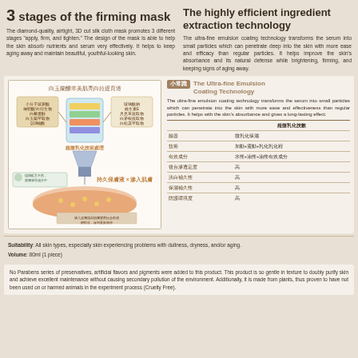3 stages of the firming mask
The highly efficient ingredient extraction technology
The diamond-quality, airtight, 3D cut silk cloth mask promotes 3 different stages "apply, firm, and tighten." The design of the mask is able to help the skin absorb nutrients and serum very effectively. It helps to keep aging away and maintain beautiful, youthful-looking skin.
The ultra-fine emulsion coating technology transforms the serum into small particles which can penetrate deep into the skin with more ease and efficacy than regular particles. It helps improve the skin's absorbance and its natural defense while brightening, firming, and keeping signs of aging away.
[Figure (infographic): Diagram showing ultra-fine emulsion coating technology process with Chinese text labels, ingredients flowing into a container, then into skin layers]
The Ultra-fine Emulsion Coating Technology
The ultra-fine emulsion coating technology transforms the serum into small particles which can penetrate into the skin with more ease and effectiveness than regular particles. It helps with the skin's absorbance and gives a long-lasting effect.
|  | 超微乳化技數 |
| --- | --- |
| 臉器 | 微乳化保濕 |
| 技術 | 加動+震動+乳化乳化程 |
| 有效成分 | 水性+油性+油性有效成分 |
| 後台滲透定度 | 高 |
| 沃白補久性 | 高 |
| 保濕補久性 | 高 |
| 防護環境度 | 高 |
Suitability: All skin types, especially skin experiencing problems with dullness, dryness, and/or aging.
Volume: 80ml (1 piece)
No Parabens series of preservatives, artificial flavors and pigments were added to this product. This product is so gentle in texture to doubly purify skin and achieve excellent maintenance without causing secondary pollution of the environment. Additionally, it is made from plants, thus proven to have not been used on or harmed animals in the experiment process (Cruelty Free).